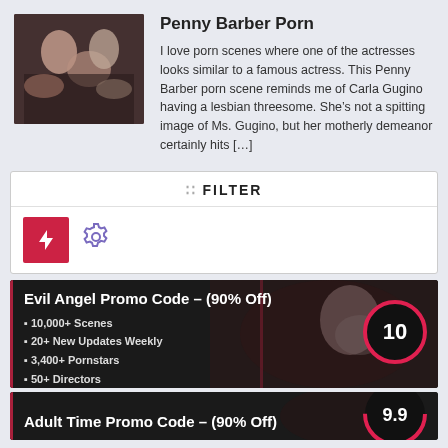[Figure (photo): Thumbnail image for article]
Penny Barber Porn
I love porn scenes where one of the actresses looks similar to a famous actress. This Penny Barber porn scene reminds me of Carla Gugino having a lesbian threesome. She’s not a spitting image of Ms. Gugino, but her motherly demeanor certainly hits [...]
FILTER
[Figure (other): Filter icons: red lightning bolt icon and purple gear icon]
[Figure (other): Evil Angel Promo Code banner with score circle showing 10]
Evil Angel Promo Code – (90% Off)
10,000+ Scenes
20+ New Updates Weekly
3,400+ Pornstars
50+ Directors
Adult Time Promo Code – (90% Off)